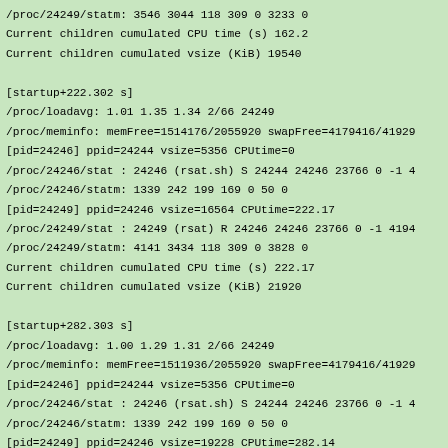/proc/24249/statm: 3546 3044 118 309 0 3233 0
Current children cumulated CPU time (s) 162.2
Current children cumulated vsize (KiB) 19540

[startup+222.302 s]
/proc/loadavg: 1.01 1.35 1.34 2/66 24249
/proc/meminfo: memFree=1514176/2055920 swapFree=4179416/41929
[pid=24246] ppid=24244 vsize=5356 CPUtime=0
/proc/24246/stat : 24246 (rsat.sh) S 24244 24246 23766 0 -1 4
/proc/24246/statm: 1339 242 199 169 0 50 0
[pid=24249] ppid=24246 vsize=16564 CPUtime=222.17
/proc/24249/stat : 24249 (rsat) R 24246 24246 23766 0 -1 4194
/proc/24249/statm: 4141 3434 118 309 0 3828 0
Current children cumulated CPU time (s) 222.17
Current children cumulated vsize (KiB) 21920

[startup+282.303 s]
/proc/loadavg: 1.00 1.29 1.31 2/66 24249
/proc/meminfo: memFree=1511936/2055920 swapFree=4179416/41929
[pid=24246] ppid=24244 vsize=5356 CPUtime=0
/proc/24246/stat : 24246 (rsat.sh) S 24244 24246 23766 0 -1 4
/proc/24246/statm: 1339 242 199 169 0 50 0
[pid=24249] ppid=24246 vsize=19228 CPUtime=282.14
/proc/24249/stat : 24249 (rsat) R 24246 24246 23766 0 -1 4194
/proc/24249/statm: 4807 3996 118 309 0 4494 0
Current children cumulated CPU time (s) 282.14
Current children cumulated vsize (KiB) 24584

[startup+342.301 s]
/proc/loadavg: 1.00 1.23 1.29 2/66 24249
/proc/meminfo: memFree=1511808/2055920 swapFree=4179416/41929
[pid=24246] ppid=24244 vsize=5356 CPUtime=0
/proc/24246/stat : 24246 (rsat.sh) S 24244 24246 23766 0 -1 4